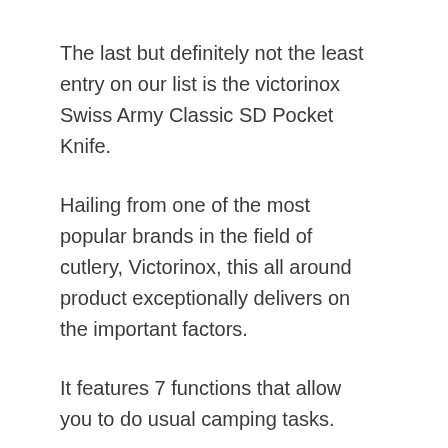The last but definitely not the least entry on our list is the victorinox Swiss Army Classic SD Pocket Knife.
Hailing from one of the most popular brands in the field of cutlery, Victorinox, this all around product exceptionally delivers on the important factors.
It features 7 functions that allow you to do usual camping tasks.